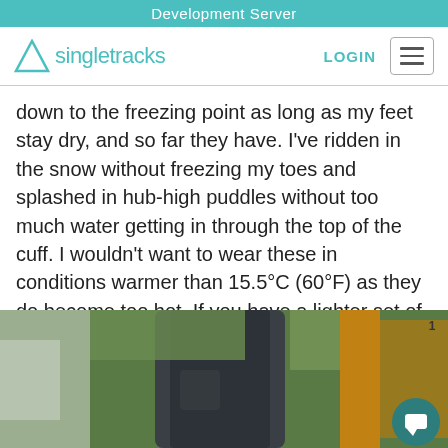Development Server
[Figure (logo): Singletracks logo with triangle icon and LOGIN button and hamburger menu]
down to the freezing point as long as my feet stay dry, and so far they have. I've ridden in the snow without freezing my toes and splashed in hub-high puddles without too much water getting in through the top of the cuff. I wouldn't want to wear these in conditions warmer than 15.5°C (60°F) as they do become too hot. If you have a lighter set of summer tread these should last through several winters.
[Figure (photo): Close-up photo of a cyclist's leg/shoe area near a bicycle frame, outdoors with green background]